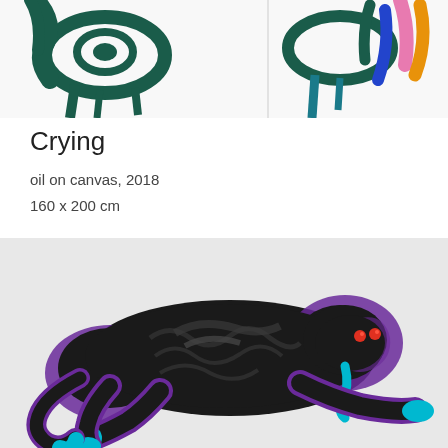[Figure (photo): Painting showing abstract dripping eyes with dark teal brushstrokes on white/light background, with colorful accents including pink, blue, and orange strokes on the right side]
Crying
oil on canvas, 2018
160 x 200 cm
[Figure (photo): Painting of a black panther in a prowling pose with purple outlines and cyan/blue accents on the claws and tongue, red eyes, on a light grey background]